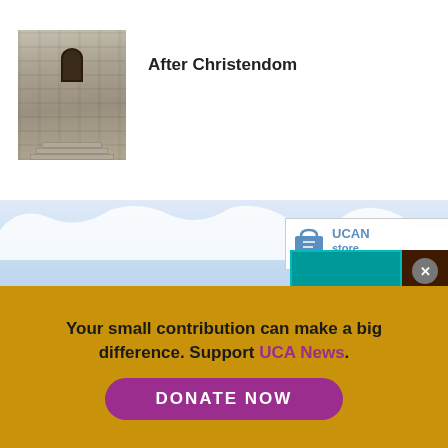[Figure (photo): Stone church doorway with arched gothic entrance and steps, book listing thumbnail]
After Christendom
[Figure (illustration): Icy blue wall background with cartoon whale illustration, UCAN store popup, brown SPECIAL EBOOKS sidebar, teal panel, thumbnail strip]
Your small contribution can make a big difference. Support UCA News.
DONATE NOW